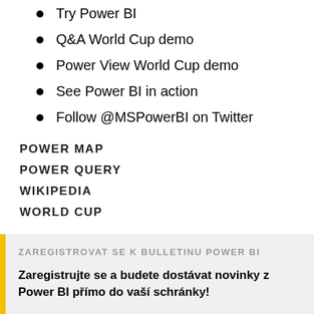Try Power BI
Q&A World Cup demo
Power View World Cup demo
See Power BI in action
Follow @MSPowerBI on Twitter
POWER MAP
POWER QUERY
WIKIPEDIA
WORLD CUP
ZAREGISTROVAT SE K BULLETINU POWER BI

Zaregistrujte se a budete dostávat novinky z Power BI přímo do vaší schránky!